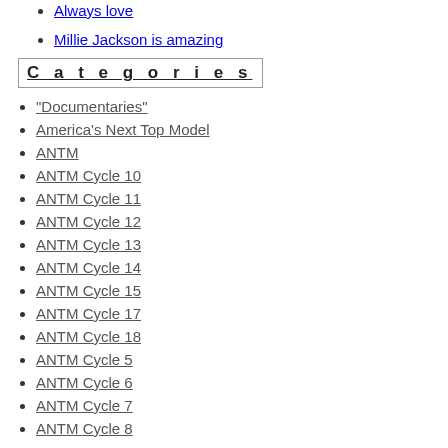Always love
Millie Jackson is amazing
Categories
"Documentaries"
America's Next Top Model
ANTM
ANTM Cycle 10
ANTM Cycle 11
ANTM Cycle 12
ANTM Cycle 13
ANTM Cycle 14
ANTM Cycle 15
ANTM Cycle 17
ANTM Cycle 18
ANTM Cycle 5
ANTM Cycle 6
ANTM Cycle 7
ANTM Cycle 8